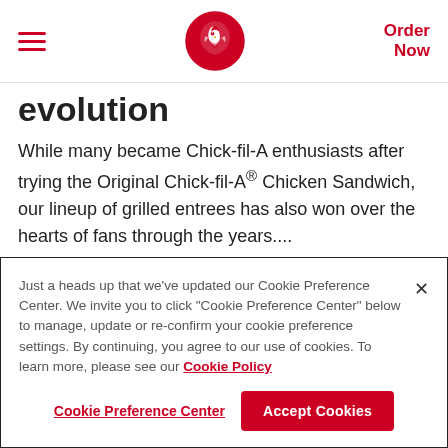Chick-fil-A navigation header with hamburger menu, logo, and Order Now link
evolution
While many became Chick-fil-A enthusiasts after trying the Original Chick-fil-A® Chicken Sandwich, our lineup of grilled entrees has also won over the hearts of fans through the years....
FEATURED FOOD
Just a heads up that we've updated our Cookie Preference Center. We invite you to click "Cookie Preference Center" below to manage, update or re-confirm your cookie preference settings. By continuing, you agree to our use of cookies. To learn more, please see our Cookie Policy
Cookie Preference Center | Accept Cookies